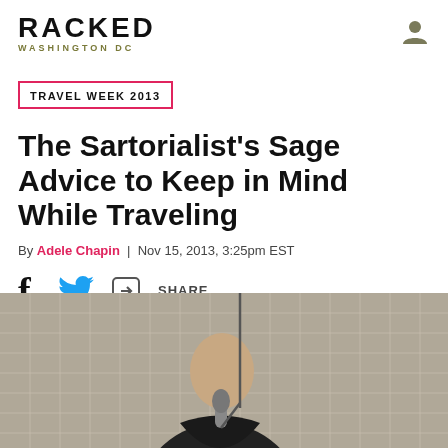RACKED WASHINGTON DC
TRAVEL WEEK 2013
The Sartorialist's Sage Advice to Keep in Mind While Traveling
By Adele Chapin | Nov 15, 2013, 3:25pm EST
SHARE
[Figure (photo): Man in dark jacket speaking at a microphone outdoors, with a patterned screen or building facade in the background]